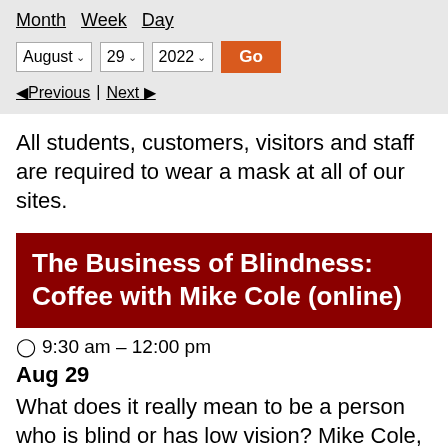Month  Week  Day
August 29 2022 Go
◄Previous | Next ►
All students, customers, visitors and staff are required to wear a mask at all of our sites.
The Business of Blindness: Coffee with Mike Cole (online)
⊙ 9:30 am – 12:00 pm
Aug 29
What does it really mean to be a person who is blind or has low vision? Mike Cole, a veteran of all things blindness, will lead this